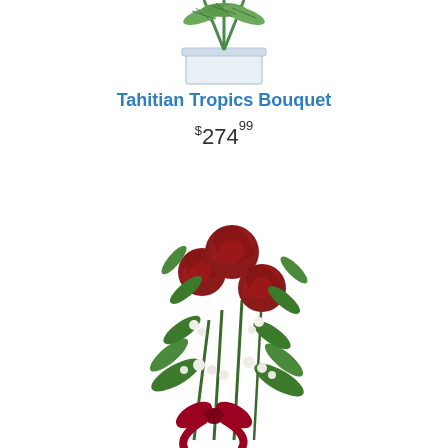[Figure (photo): Partial view of Tahitian Tropics Bouquet in a clear rectangular vase with tropical green palm-like leaves, shown cropped at the top of the page.]
Tahitian Tropics Bouquet
$274.99
[Figure (photo): Three long-stem red roses with green leaves, small white filler flowers, and a red satin bow tied around the stems, arranged as a hand-tied bouquet on a white background.]